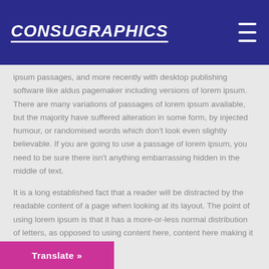Consugraphics
ipsum passages, and more recently with desktop publishing software like aldus pagemaker including versions of lorem ipsum. There are many variations of passages of lorem ipsum available, but the majority have suffered alteration in some form, by injected humour, or randomised words which don't look even slightly believable. If you are going to use a passage of lorem ipsum, you need to be sure there isn't anything embarrassing hidden in the middle of text.
It is a long established fact that a reader will be distracted by the readable content of a page when looking at its layout. The point of using lorem ipsum is that it has a more-or-less normal distribution of letters, as opposed to using content here, content here making it look like readable english.
Translate »